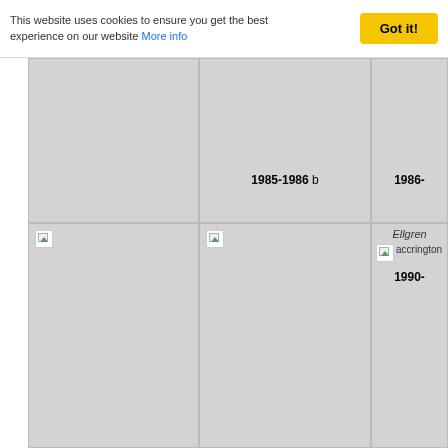This website uses cookies to ensure you get the best experience on our website More info [Got it! button]
[Figure (photo): Grid of football kit/shirt images. Row 1: empty white cell, large grey placeholder cell (no image loaded), cell with grey placeholder and label '1985-1986 b', partial cell with label '1986-'. Row 2: empty white cell, grey placeholder cell with broken image icon, grey placeholder cell with broken image icon, partial cell with text 'Ellgren', broken image icon labeled 'accrington', and label '1990-'.]
1985-1986 b
1986-
Ellgren
1990-